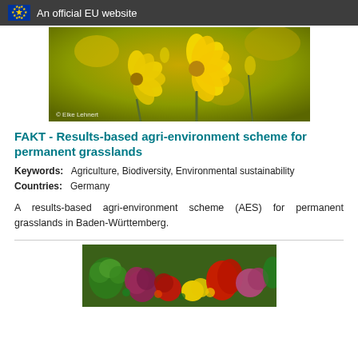An official EU website
[Figure (photo): Close-up photo of yellow rapeseed flowers with copyright notice '© Elke Lehnert']
FAKT - Results-based agri-environment scheme for permanent grasslands
Keywords: Agriculture, Biodiversity, Environmental sustainability
Countries: Germany
A results-based agri-environment scheme (AES) for permanent grasslands in Baden-Württemberg.
[Figure (photo): Photo of mixed vegetables including broccoli, red onions, red peppers, yellow lemons, and other colorful produce]